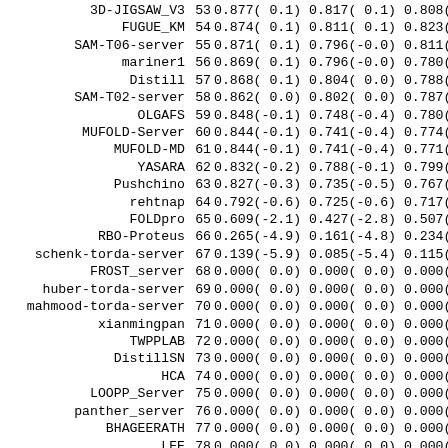| Name | Rank | Col1 | Col2 | Col3 |
| --- | --- | --- | --- | --- |
| 3D-JIGSAW_V3 | 53 | 0.877( 0.1) | 0.817( 0.1) | 0.808( |
| FUGUE_KM | 54 | 0.874( 0.1) | 0.811( 0.1) | 0.823( |
| SAM-T06-server | 55 | 0.871( 0.1) | 0.796(-0.0) | 0.811( |
| mariner1 | 56 | 0.869( 0.1) | 0.796(-0.0) | 0.780(- |
| Distill | 57 | 0.868( 0.1) | 0.804( 0.0) | 0.788(- |
| SAM-T02-server | 58 | 0.862( 0.0) | 0.802( 0.0) | 0.787(- |
| OLGAFS | 59 | 0.848(-0.1) | 0.748(-0.4) | 0.780(- |
| MUFOLD-Server | 60 | 0.844(-0.1) | 0.741(-0.4) | 0.774(- |
| MUFOLD-MD | 61 | 0.844(-0.1) | 0.741(-0.4) | 0.771(- |
| YASARA | 62 | 0.832(-0.2) | 0.788(-0.1) | 0.799(- |
| Pushchino | 63 | 0.827(-0.3) | 0.735(-0.5) | 0.767(- |
| rehtnap | 64 | 0.792(-0.6) | 0.725(-0.6) | 0.717(- |
| FOLDpro | 65 | 0.609(-2.1) | 0.427(-2.8) | 0.507(-2 |
| RBO-Proteus | 66 | 0.265(-4.9) | 0.161(-4.8) | 0.234(-4 |
| schenk-torda-server | 67 | 0.139(-5.9) | 0.085(-5.4) | 0.115(-5 |
| FROST_server | 68 | 0.000( 0.0) | 0.000( 0.0) | 0.000( |
| huber-torda-server | 69 | 0.000( 0.0) | 0.000( 0.0) | 0.000( |
| mahmood-torda-server | 70 | 0.000( 0.0) | 0.000( 0.0) | 0.000( |
| xianmingpan | 71 | 0.000( 0.0) | 0.000( 0.0) | 0.000( |
| TWPPLAB | 72 | 0.000( 0.0) | 0.000( 0.0) | 0.000( |
| DistillSN | 73 | 0.000( 0.0) | 0.000( 0.0) | 0.000( |
| HCA | 74 | 0.000( 0.0) | 0.000( 0.0) | 0.000( |
| LOOPP_Server | 75 | 0.000( 0.0) | 0.000( 0.0) | 0.000( |
| panther_server | 76 | 0.000( 0.0) | 0.000( 0.0) | 0.000( |
| BHAGEERATH | 77 | 0.000( 0.0) | 0.000( 0.0) | 0.000( |
| LEE | 78 | 0.000( 0.0) | 0.000( 0.0) | 0.000( |
| EB_AMU | 79 | 0.000( 0.0) | 0.000( 0.0) | 0.000( |
| Jiang_Zhu | 80 | 0.000( 0.0) | 0.000( 0.0) | 0.000( |
| MULTICOM | 81 | 0.000( 0.0) | 0.000( 0.0) | 0.000( |